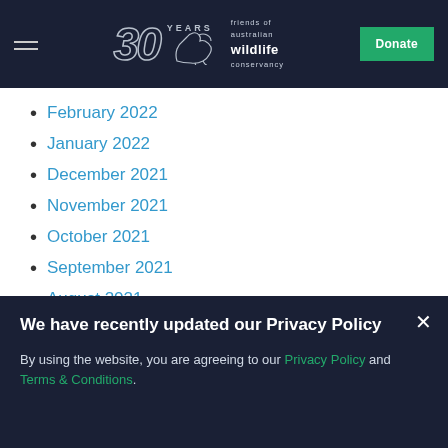[Figure (logo): Friends of Australian Wildlife Conservancy 30 Years logo with kangaroo silhouette on dark navy header, with hamburger menu on left and green Donate button on right]
February 2022
January 2022
December 2021
November 2021
October 2021
September 2021
August 2021
July 2021
June 2021
May 2021
We have recently updated our Privacy Policy
By using the website, you are agreeing to our Privacy Policy and Terms & Conditions.